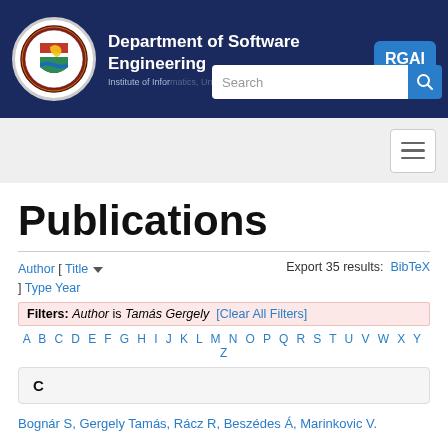[Figure (logo): University of Szeged coat of arms logo in circular frame]
Department of Software Engineering
Institute of Informatics, University of Szeged
RGAI
Search
Publications
Author [ Title ▼ ] Type Year
Export 35 results:  BibTeX
Filters: Author is Tamás Gergely  [Clear All Filters]
A B C D E F G H I J K L M N O P Q R S T U V W X Y Z
C
Bognár S, Gergely Tamás, Rácz R, Beszédes Á, Marinkovic V.